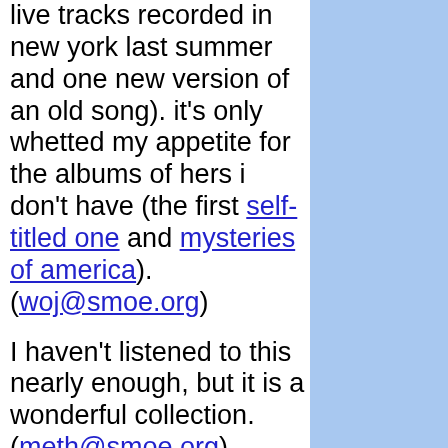live tracks recorded in new york last summer and one new version of an old song). it's only whetted my appetite for the albums of hers i don't have (the first self-titled one and mysteries of america). (woj@smoe.org)
I haven't listened to this nearly enough, but it is a wonderful collection. (meth@smoe.org)
A delightful collection of her best work. Really. I wasn't too interested in her earlier discs, but started finding her work with the Colouring in the Edge and the Outside ep intriguing enough to follow her and track down her hard-to-find discs. This is the best because it focuses on her best work. Ethereal, a touch